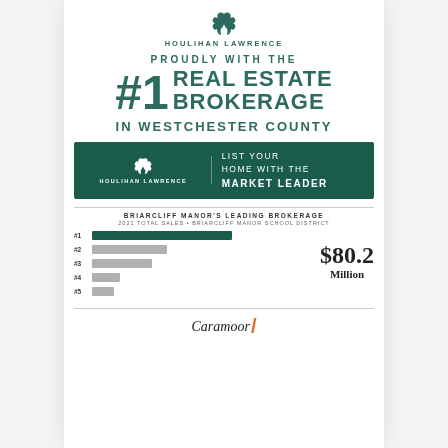[Figure (logo): Houlihan Lawrence horse logo and wordmark in teal/green]
PROUDLY WITH THE
#1 REAL ESTATE BROKERAGE IN WESTCHESTER COUNTY
[Figure (infographic): Dark green banner with Houlihan Lawrence logo on left and text 'LIST YOUR HOME WITH THE MARKET LEADER' on right]
BRIARCLIFF MANOR'S LEADING BROKERAGE
2021 TOTAL SALES • BRIARCLIFF MANOR SCHOOL DISTRICT
[Figure (bar-chart): Briarcliff Manor's Leading Brokerage]
$80.2 Million
[Figure (logo): Caramoor logo with orange slash]